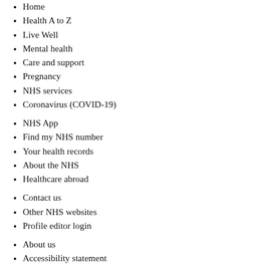Home
Health A to Z
Live Well
Mental health
Care and support
Pregnancy
NHS services
Coronavirus (COVID-19)
NHS App
Find my NHS number
Your health records
About the NHS
Healthcare abroad
Contact us
Other NHS websites
Profile editor login
About us
Accessibility statement
Our policies
Cookies
© Crown copyright